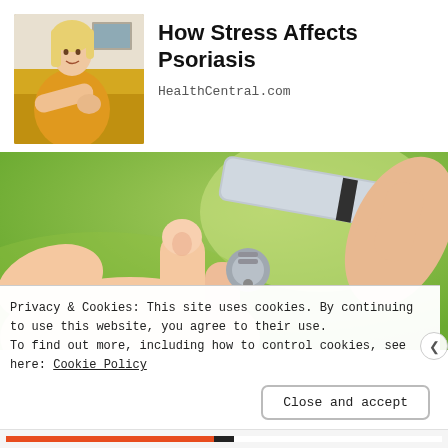[Figure (photo): Woman in yellow sweater looking at her arm/elbow, sitting on couch]
How Stress Affects Psoriasis
HealthCentral.com
[Figure (photo): Close-up of a finger being pricked by a lancet/pen device, green blurred background]
Privacy & Cookies: This site uses cookies. By continuing to use this website, you agree to their use.
To find out more, including how to control cookies, see here: Cookie Policy
Close and accept